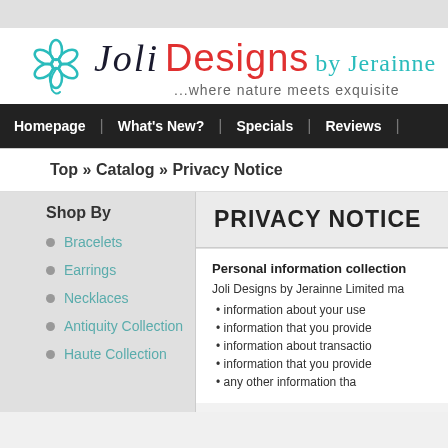[Figure (logo): Joli Designs by Jerainne logo with teal flower, stylized dark text 'Joli', red 'Designs', teal 'by Jerainne', tagline '...where nature meets exquisite']
Homepage | What's New? | Specials | Reviews |
Top » Catalog » Privacy Notice
Shop By
Bracelets
Earrings
Necklaces
Antiquity Collection
Haute Collection
PRIVACY NOTICE
Personal information collection
Joli Designs by Jerainne Limited ma
information about your use
information that you provide
information about transactio
information that you provide
any other information tha